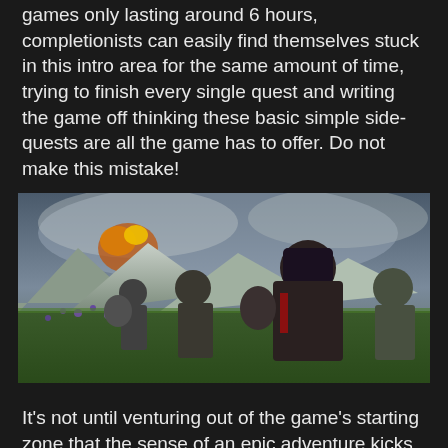games only lasting around 6 hours, completionists can easily find themselves stuck in this intro area for the same amount of time, trying to finish every single quest and writing the game off thinking these basic simple side-quests are all the game has to offer. Do not make this mistake!
[Figure (photo): Screenshot from a video game showing armored warriors standing in a lush green meadow with purple flowers, mountains and dramatic stormy sky in the background. A helmeted warrior in the foreground wearing dark chainmail armor with red accents, others visible behind.]
It's not until venturing out of the game's starting zone that the sense of an epic adventure kicks in. A disturbing villain quickly emerges during an epic